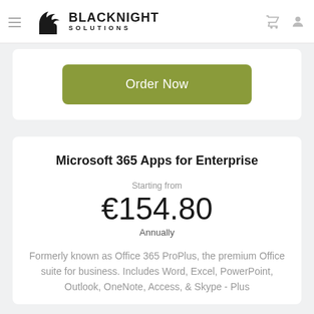[Figure (logo): Blacknight Solutions logo with horse knight chess piece icon and brand name]
Order Now
Microsoft 365 Apps for Enterprise
Starting from
€154.80
Annually
Formerly known as Office 365 ProPlus, the premium Office suite for business. Includes Word, Excel, PowerPoint, Outlook, OneNote, Access, & Skype - Plus